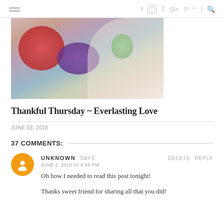Navigation header with hamburger menu and social icons: f, instagram, twitter, G+, pinterest, rss, search
[Figure (photo): Photo of a child eating food from a purple plate with a green sippy cup, on a floral blanket]
Thankful Thursday ~ Everlasting Love
JUNE 03, 2010
37 COMMENTS:
UNKNOWN SAYS
JUNE 2, 2010 AT 6:55 PM
Oh how I needed to read this post tonight!
Thanks sweet friend for sharing all that you did!